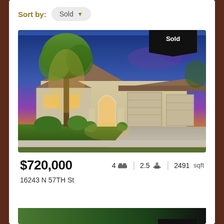Sort by: Sold
[Figure (photo): Exterior photo of a large beige stucco single-story home at dusk with purple and blue sky, mature trees, arched entryway, 3-car garage, and lush green lawn. A black 'Sold' banner appears in the upper right corner.]
$720,000   4 [bed icon]  |  2.5 [bath icon]  |  2491 sqft
16243 N 57TH St